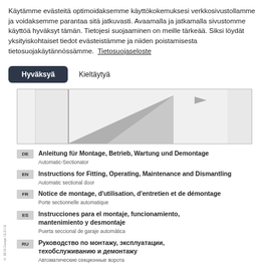Käytämme evästeitä optimoidaksemme käyttökokemuksesi verkkosivustollamme ja voidaksemme parantaa sitä jatkuvasti. Avaamalla ja jatkamalla sivustomme käyttöä hyväksyt tämän. Tietojesi suojaaminen on meille tärkeää. Siksi löydät yksityiskohtaiset tiedot evästeistämme ja niiden poistamisesta tietosuojakäytännössämme. Tietosuojaseloste
Hyväksyä    Kieltäytyä
[Figure (photo): Partial view of an automatic sectional door, showing the door panel, track, and triangular panel detail.]
DE — Anleitung für Montage, Betrieb, Wartung und Demontage / Automatic-Sectionator
EN — Instructions for Fitting, Operating, Maintenance and Dismantling / Automatic sectional door
FR — Notice de montage, d'utilisation, d'entretien et de démontage / Porte sectionnelle automatique
ES — Instrucciones para el montaje, funcionamiento, mantenimiento y desmontaje / Puerta seccional de garaje automática
RU — Руководство по монтажу, эксплуатации, техобслуживанию и демонтажу / Автоматические секционные ворота
© 2019 Garaje 10.2119